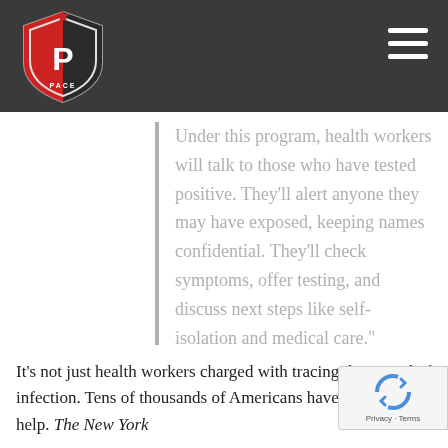[Figure (logo): PACE organization shield logo — black and red shield with a 'P' letter and a red star at top, on dark header bar]
Under this program, health workers will talk to those who have tested positive. They'll alert anyone they may have exposed, keeping names confidential. They'll check symptoms, offer testing, and discuss next steps like self-isolation and medical care."
It's not just health workers charged with tracing the spread of infection. Tens of thousands of Americans have applied to help. The New York